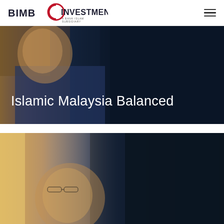BIMB INVESTMENT — A Bank Islam Subsidiary
[Figure (photo): Professional man in glasses and blue suit with dark navy background, hero banner for Islamic Malaysia Balanced fund]
Islamic Malaysia Balanced
[Figure (photo): Professional man in glasses partially visible against dark navy background, second hero image]